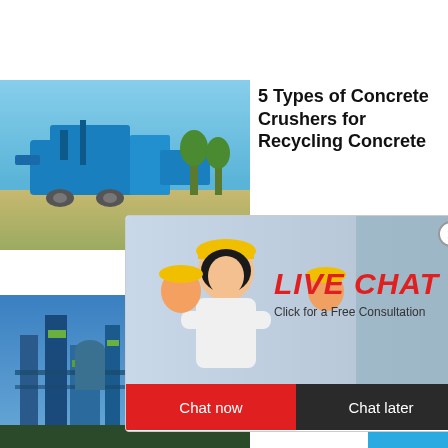[Figure (screenshot): Read more button (blue, partially visible at top)]
[Figure (photo): Construction site with blue machinery and industrial equipment outdoors]
5 Types of Concrete Crushers for Recycling Concrete
[Figure (photo): Live chat popup overlay with woman in white shirt and colleagues in yellow hard hats, LIVE CHAT red text, Click for a Free Consultation, Chat now and Chat later buttons]
[Figure (photo): Industrial plant with blue and green structures against blue sky]
Jaw Crusher PULVE... classic...
FRITSCH...
[Figure (screenshot): Right sidebar with blue background, hour online text, jaw crusher image, Click me to chat>> button, Enquiry button, limingjlmofen button]